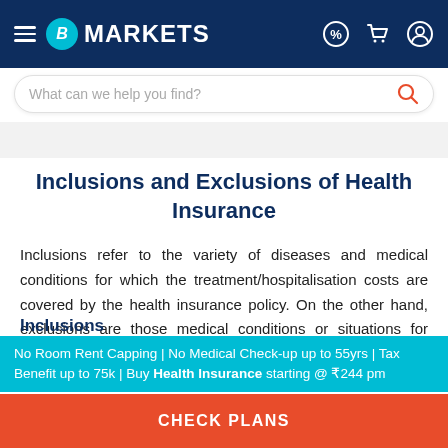BankBazaar MARKETS
Inclusions and Exclusions of Health Insurance
Inclusions refer to the variety of diseases and medical conditions for which the treatment/hospitalisation costs are covered by the health insurance policy. On the other hand, exclusions are those medical conditions or situations for which the health insurance policy does not provide any coverage for medical treatments. Let's take a look at the common inclusions and exclusions under medical insurance in India.
No Room Rent Capping | No Medical Check-up up to 55yrs | Tax Benefit up to 75k | Buy Health Insurance starting @ ₹244 pm
CHECK PLANS